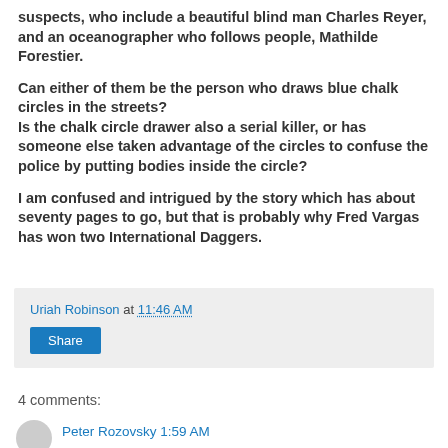suspects, who include a beautiful blind man Charles Reyer, and an oceanographer who follows people, Mathilde Forestier.
Can either of them be the person who draws blue chalk circles in the streets?
Is the chalk circle drawer also a serial killer, or has someone else taken advantage of the circles to confuse the police by putting bodies inside the circle?
I am confused and intrigued by the story which has about seventy pages to go, but that is probably why Fred Vargas has won two International Daggers.
Uriah Robinson at 11:46 AM
Share
4 comments:
Peter Rozovsky 1:59 AM